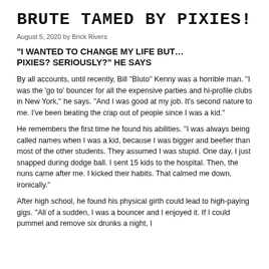BRUTE TAMED BY PIXIES!
August 5, 2020 by Brick Rivers
“I WANTED TO CHANGE MY LIFE BUT… PIXIES? SERIOUSLY?” HE SAYS
By all accounts, until recently, Bill ''Bluto'' Kenny was a horrible man. ''I was the 'go to' bouncer for all the expensive parties and hi-profile clubs in New York,'' he says. ''And I was good at my job. It's second nature to me. I've been beating the crap out of people since I was a kid.''
He remembers the first time he found his abilities. ''I was always being called names when I was a kid, because I was bigger and beefier than most of the other students. They assumed I was stupid. One day, I just snapped during dodge ball. I sent 15 kids to the hospital. Then, the nuns came after me. I kicked their habits. That calmed me down, ironically.''
After high school, he found his physical girth could lead to high-paying gigs. ''All of a sudden, I was a bouncer and I enjoyed it. If I could pummel and remove six drunks a night, I